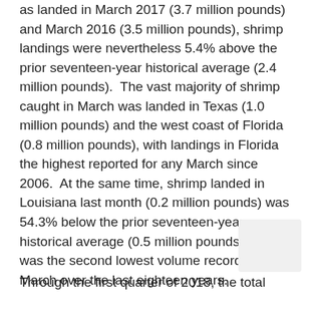as landed in March 2017 (3.7 million pounds) and March 2016 (3.5 million pounds), shrimp landings were nevertheless 5.4% above the prior seventeen-year historical average (2.4 million pounds).  The vast majority of shrimp caught in March was landed in Texas (1.0 million pounds) and the west coast of Florida (0.8 million pounds), with landings in Florida the highest reported for any March since 2006.  At the same time, shrimp landed in Louisiana last month (0.2 million pounds) was 54.3% below the prior seventeen-year historical average (0.5 million pounds) and was the second lowest volume recorded for a March over the last eighteen years.
Through the first quarter of 2018, the total